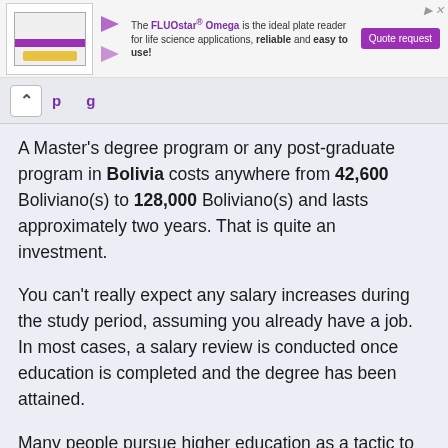[Figure (other): Advertisement banner for FLUOstar Omega plate reader with device image, purple arrow graphic, descriptive text, and Quote request button]
A Master's degree program or any post-graduate program in Bolivia costs anywhere from 42,600 Boliviano(s) to 128,000 Boliviano(s) and lasts approximately two years. That is quite an investment.
You can't really expect any salary increases during the study period, assuming you already have a job. In most cases, a salary review is conducted once education is completed and the degree has been attained.
Many people pursue higher education as a tactic to switch into a higher paying job. The numbers